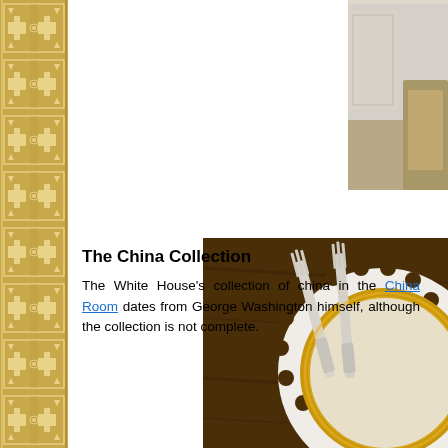[Figure (illustration): Decorative left border with repeating ornamental tile pattern in gold/tan color]
[Figure (photo): Partial photo in top-right corner showing what appears to be a room interior with beige/neutral tones]
[Figure (photo): Photo of White House china collection: ornate white plate with gold rim and silver forks on dark wood surface]
The China Collection
The White House's collection of china in the China Room dates from George Washington himself, although the collection is not complete.